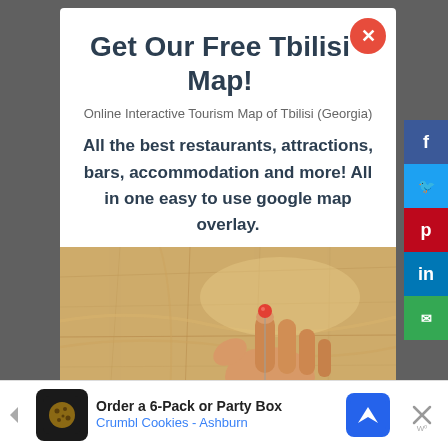Get Our Free Tbilisi Map!
Online Interactive Tourism Map of Tbilisi (Georgia)
All the best restaurants, attractions, bars, accommodation and more! All in one easy to use google map overlay.
[Figure (photo): Close-up photo of a hand placing a pin on a paper map]
Order a 6-Pack or Party Box Crumbl Cookies - Ashburn